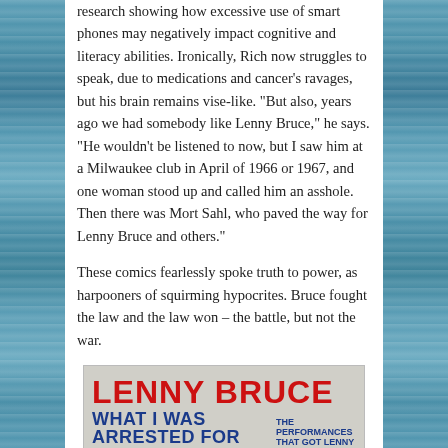research showing how excessive use of smart phones may negatively impact cognitive and literacy abilities. Ironically, Rich now struggles to speak, due to medications and cancer's ravages, but his brain remains vise-like. "But also, years ago we had somebody like Lenny Bruce," he says. "He wouldn't be listened to now, but I saw him at a Milwaukee club in April of 1966 or 1967, and one woman stood up and called him an asshole. Then there was Mort Sahl, who paved the way for Lenny Bruce and others."
These comics fearlessly spoke truth to power, as harpooners of squirming hypocrites. Bruce fought the law and the law won – the battle, but not the war.
[Figure (photo): Album cover for 'Lenny Bruce: What I Was Arrested For – The Performances That Got Lenny Bruce Busted'. Red bold text for 'LENNY BRUCE', blue bold text for 'WHAT I WAS ARRESTED FOR' and small subtitle text. Silhouette of a figure at the bottom.]